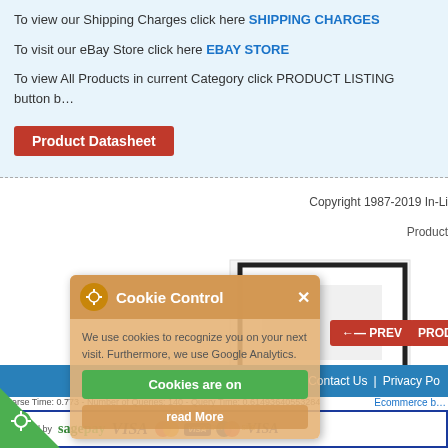To view our Shipping Charges click here SHIPPING CHARGES
To visit our eBay Store click here EBAY STORE
To view All Products in current Category click PRODUCT LISTING button
Product Datasheet
Copyright 1987-2019 In-Li
Product
[Figure (photo): Product image - partial view of a white/black filter or panel product]
←— PREV
PRODU
Home | About Us | Contact Us | Privacy Po
Parse Time: 0.773 - Number of Queries: 140 - Query Time: 0.61493640553284
Ecommerce
[Figure (screenshot): Cookie Control popup overlay with orange/tan background, gear icon, showing 'We use cookies to recognize you on your next visit. Furthermore, we use Google Analytics.' with 'Cookies are on' green button and 'read More' button]
secured by sagepay VISA MasterCard VISA Maestro VISA
[Figure (screenshot): Payment bar showing sagepay, VISA, MasterCard, VISA Debit, Maestro, VISA logos in a blue bordered box]